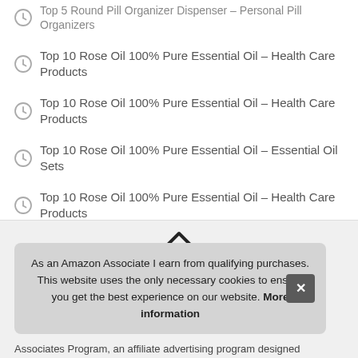Top 5 Round Pill Organizer Dispenser – Personal Pill Organizers
Top 10 Rose Oil 100% Pure Essential Oil – Health Care Products
Top 10 Rose Oil 100% Pure Essential Oil – Health Care Products
Top 10 Rose Oil 100% Pure Essential Oil – Essential Oil Sets
Top 10 Rose Oil 100% Pure Essential Oil – Health Care Products
Top 10 Rose Oil 100% Pure Essential Oil – Health Care Products
Top 10 Rose Oil 100% Pure Essential Oil – Health Care Products
As an Amazon Associate I earn from qualifying purchases. This website uses the only necessary cookies to ensure you get the best experience on our website. More information
Associates Program, an affiliate advertising program designed